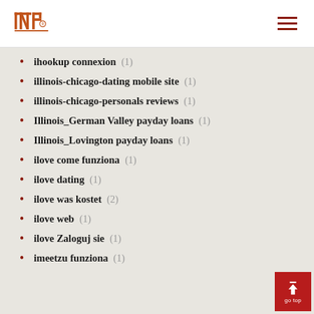INP logo and navigation
ihookup connexion (1)
illinois-chicago-dating mobile site (1)
illinois-chicago-personals reviews (1)
Illinois_German Valley payday loans (1)
Illinois_Lovington payday loans (1)
ilove come funziona (1)
ilove dating (1)
ilove was kostet (2)
ilove web (1)
ilove Zaloguj sie (1)
imeetzu funziona (1)